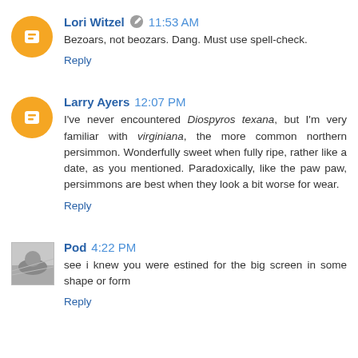Lori Witzel ✏ 11:53 AM
Bezoars, not beozars. Dang. Must use spell-check.
Reply
Larry Ayers 12:07 PM
I've never encountered Diospyros texana, but I'm very familiar with virginiana, the more common northern persimmon. Wonderfully sweet when fully ripe, rather like a date, as you mentioned. Paradoxically, like the paw paw, persimmons are best when they look a bit worse for wear.
Reply
Pod 4:22 PM
see i knew you were estined for the big screen in some shape or form
Reply